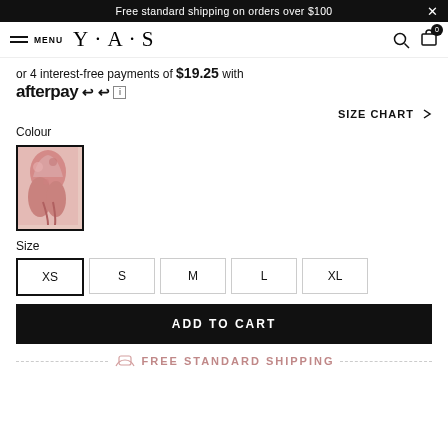Free standard shipping on orders over $100
MENU  Y·A·S
or 4 interest-free payments of $19.25 with afterpay
SIZE CHART >
Colour
[Figure (photo): Floral dress product thumbnail in pink/red tones]
Size
XS  S  M  L  XL
ADD TO CART
FREE STANDARD SHIPPING